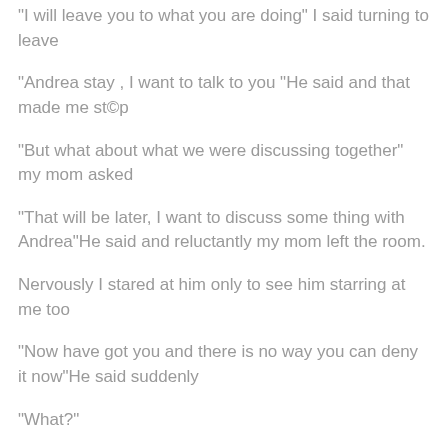“I will leave you to what you are doing” I said turning to leave
“Andrea stay , I want to talk to you “He said and that made me st©p
“But what about what we were discussing together” my mom asked
“That will be later, I want to discuss some thing with Andrea”He said and reluctantly my mom left the room.
Nervously I stared at him only to see him starring at me too
“Now have got you and there is no way you can deny it now”He said suddenly
“What?”